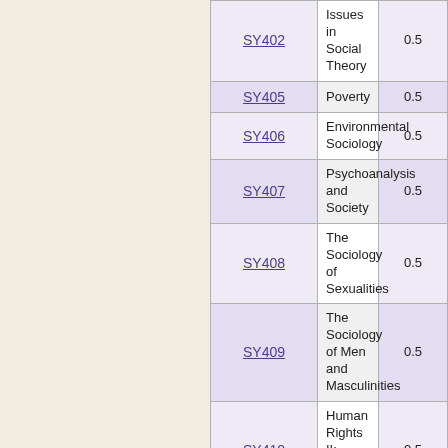| Code | Name | Credit |
| --- | --- | --- |
| SY402 | Issues in Social Theory | 0.5 |
| SY405 | Poverty | 0.5 |
| SY406 | Environmental Sociology | 0.5 |
| SY407 | Psychoanalysis and Society | 0.5 |
| SY408 | The Sociology of Sexualities | 0.5 |
| SY409 | The Sociology of Men and Masculinities | 0.5 |
| SY410 | Human Rights II: Intellectuals' Responsibility | 0.5 |
| SY411 | Advanced Sociology of Physical Activity | 0.5 |
| SY412 | Constructions of Parenthood and Childhood in Canada | 0.5 |
| SY413 | Sociology of Embodiment and Disability | 0.5 |
| SY414 | Social Movements | 0.5 |
| SY415 | Sociology of Health, Illness and Gender | 0.5 |